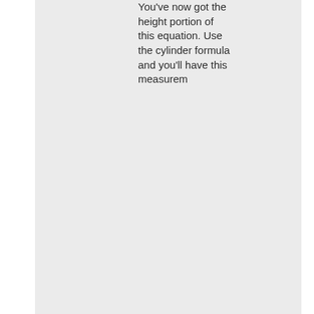You've now got the height portion of this equation. Use the cylinder formula and you'll have this measurement
Now, you have Head Chamber Volume, Gasket Volume, Deck to Piston Volume, and Crown Volume. Add them up! This gives you the volume of gasses after